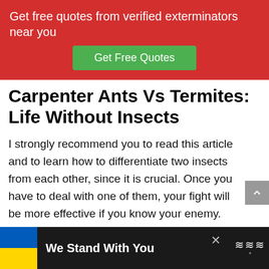Get free quotes from verified exterminators near you
Get Free Quotes
Carpenter Ants Vs Termites: Life Without Insects
I strongly recommend you to read this article and to learn how to differentiate two insects from each other, since it is crucial. Once you have to deal with one of them, your fight will be more effective if you know your enemy.
I have made helpful instructions on how to prevent the infestation from going into your home, and not
We Stand With You